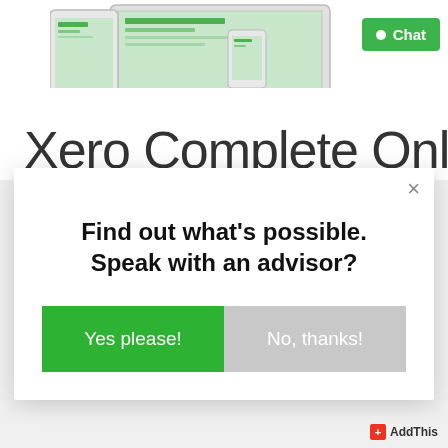[Figure (screenshot): Devices illustration showing tablet and laptop with Xero interface screenshots]
[Figure (other): Green Chat button in top right corner with white circle dot and Chat text]
Xero Complete Online
[Figure (other): Modal dialog with close X button, heading 'Find out what's possible. Speak with an advisor?', green 'Yes please!' button on left, and gray 'No, thanks!' button on right]
Find out what's possible. Speak with an advisor?
Yes please!
No, thanks!
[Figure (logo): AddThis red plus icon with 'AddThis' text in bottom right corner]